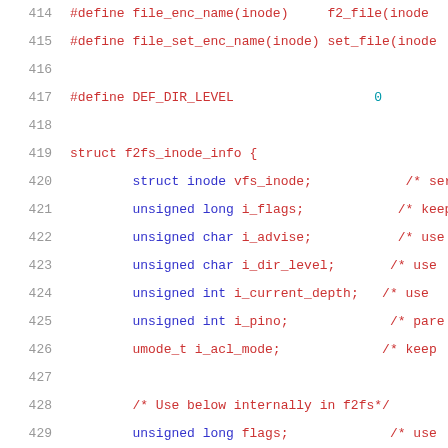[Figure (screenshot): Source code listing showing C struct definition for f2fs_inode_info with line numbers 414-435. Lines show #define macros and struct fields with comments. Code uses monospace font with red keywords and blue type names.]